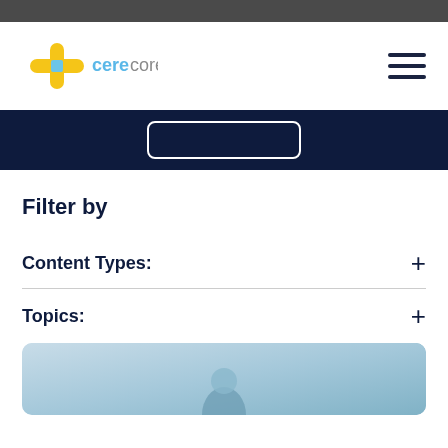[Figure (logo): CereCore logo with yellow/gold plus sign and 'cere' in blue and 'core' in gray text]
Filter by
Content Types:
Topics:
[Figure (photo): Photo of a healthcare professional in a clinical setting, light blue tones]